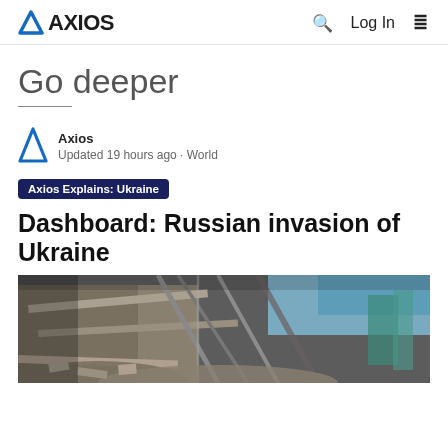AXIOS   🔍  Log In  ≡
Go deeper
Axios
Updated 19 hours ago · World
Axios Explains: Ukraine
Dashboard: Russian invasion of Ukraine
[Figure (photo): Photograph of a destroyed building with rubble, exposed metal beams and framing, taken from below looking up, with blue sky visible in background.]